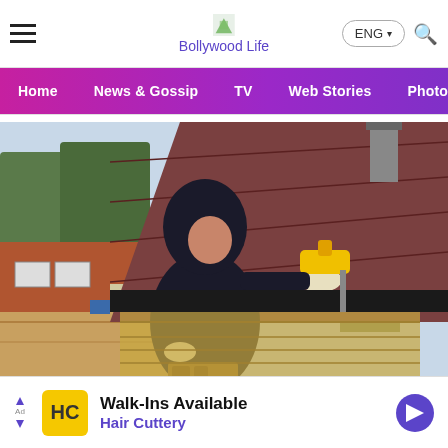Bollywood Life
[Figure (photo): Worker in a black hoodie on a ladder working on roof gutters with a power tool, with a sloped shingle roof visible and trees in the background]
Roofers Tested 17 Gutter Guards... Here's What They
[Figure (infographic): Advertisement banner: Walk-Ins Available, Hair Cuttery, with HC logo in yellow and a blue diamond arrow icon]